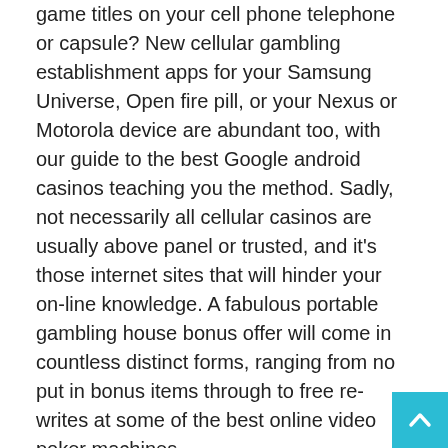game titles on your cell phone telephone or capsule? New cellular gambling establishment apps for your Samsung Universe, Open fire pill, or your Nexus or Motorola device are abundant too, with our guide to the best Google android casinos teaching you the method. Sadly, not necessarily all cellular casinos are usually above panel or trusted, and it's those internet sites that will hinder your on-line knowledge. A fabulous portable gambling house bonus offer will come in countless distinct forms, ranging from no put in bonus items through to free re-writes at some of the best online video poker machines.
Portable casinos possess countless rewards and positive aspects, yet they are generally plagued by 1 key worry. No make any difference if you get pleasure from traditional casino wars, table or jackpots games, there will turn out to be something for you. Some of the most popular modern casino activities include Wolf Display port, Caishen's Bundle port